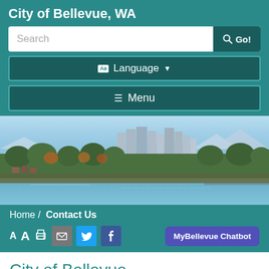City of Bellevue, WA
[Figure (screenshot): Search bar with placeholder text 'Search' and a dark teal 'Go!' button with magnifying glass icon]
[Figure (screenshot): Language selector button with translation icon and dropdown arrow]
[Figure (screenshot): Menu button with hamburger icon]
[Figure (photo): Aerial panoramic photo of City of Bellevue, WA showing skyline, trees, waterfront, and Lake Washington]
Home / Contact Us
[Figure (screenshot): Toolbar with font size buttons (A A), print icon, email icon, Twitter icon, Facebook icon, and MyBellevue Chatbot button]
City of Bellevue